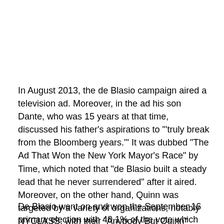In August 2013, the de Blasio campaign aired a television ad. Moreover, in the ad his son Dante, who was 15 years at that time, discussed his father's aspirations to "'truly break from the Bloomberg years.'" It was dubbed "The Ad That Won the New York Mayor's Race" by Time, which noted that "de Blasio built a steady lead that he never surrendered" after it aired. Moreover, on the other hand, Quinn was targeted by a variety of organizations, notably NYCLASS, with their "Anybody But Quinn" campaign, which helped de Blasio gain ground in the polls.
De Blasio went on and won the September 16 primary election with 40.1% of the vote which exceeded the